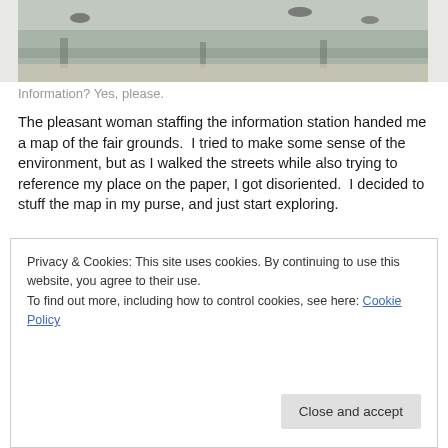[Figure (photo): Partial photo of a street or fairground scene, cropped at top, showing pavement/ground with shadows and feet in the background.]
Information? Yes, please.
The pleasant woman staffing the information station handed me a map of the fair grounds.  I tried to make some sense of the environment, but as I walked the streets while also trying to reference my place on the paper, I got disoriented.  I decided to stuff the map in my purse, and just start exploring.
The very first things I experienced were:
Privacy & Cookies: This site uses cookies. By continuing to use this website, you agree to their use.
To find out more, including how to control cookies, see here: Cookie Policy